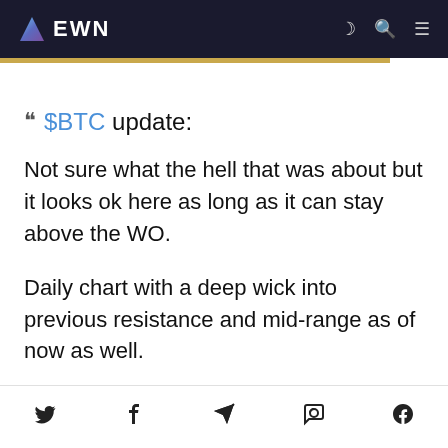EWN
$BTC update:

Not sure what the hell that was about but it looks ok here as long as it can stay above the WO.

Daily chart with a deep wick into previous resistance and mid-range as of now as well.
[Twitter] [Facebook] [Telegram] [WhatsApp] [Messenger]